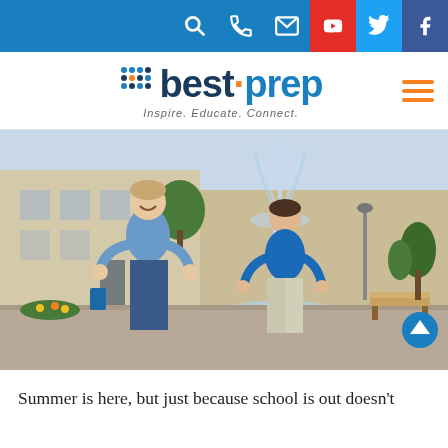bestprep – navigation bar with search, phone, email, YouTube, Twitter, Facebook icons
[Figure (logo): bestprep logo with grid dots, orange center dot, tagline: Inspire. Educate. Connect.]
[Figure (photo): Two people (an adult man and a teenage boy) giving thumbs up and smiling in front of a fountain on a college campus, summer setting]
Summer is here, but just because school is out doesn't